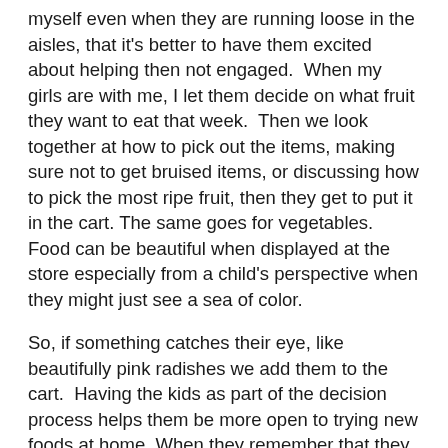myself even when they are running loose in the aisles, that it's better to have them excited about helping then not engaged.  When my girls are with me, I let them decide on what fruit they want to eat that week.  Then we look together at how to pick out the items, making sure not to get bruised items, or discussing how to pick the most ripe fruit, then they get to put it in the cart. The same goes for vegetables.  Food can be beautiful when displayed at the store especially from a child's perspective when they might just see a sea of color.
So, if something catches their eye, like beautifully pink radishes we add them to the cart.  Having the kids as part of the decision process helps them be more open to trying new foods at home. When they remember that they hand-picked a food that ends up on their plate, there is more of a chance they become open to trying even just a bite.
We tend to focus most of our attention at the store